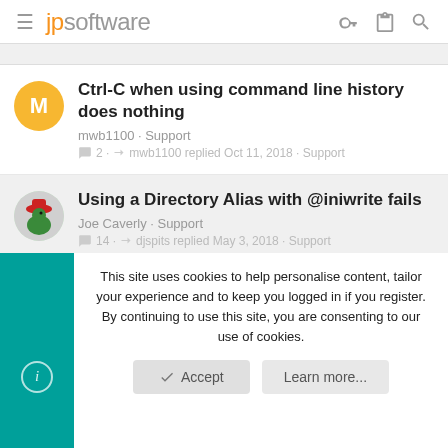jpsoftware
Ctrl-C when using command line history does nothing
mwb1100 · Support
2 · mwb1100 replied Oct 11, 2018 · Support
Using a Directory Alias with @iniwrite fails
Joe Caverly · Support
14 · djspits replied May 3, 2018 · Support
French accents using msgbox
This site uses cookies to help personalise content, tailor your experience and to keep you logged in if you register.
By continuing to use this site, you are consenting to our use of cookies.